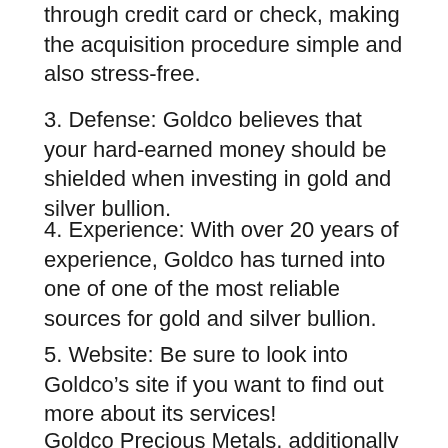through credit card or check, making the acquisition procedure simple and also stress-free.
3. Defense: Goldco believes that your hard-earned money should be shielded when investing in gold and silver bullion.
4. Experience: With over 20 years of experience, Goldco has turned into one of one of the most reliable sources for gold and silver bullion.
5. Website: Be sure to look into Goldco’s site if you want to find out more about its services!
Goldco Precious Metals, additionally referred